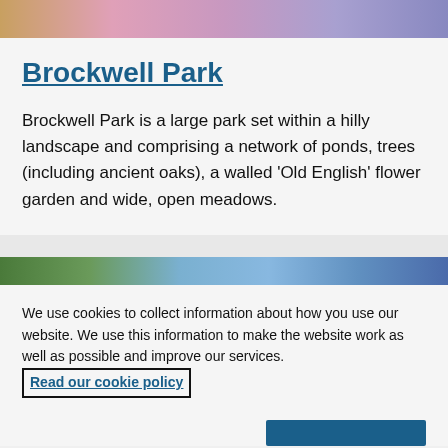[Figure (photo): Top strip showing colorful flower garden with pink, purple and red blooms]
Brockwell Park
Brockwell Park is a large park set within a hilly landscape and comprising a network of ponds, trees (including ancient oaks), a walled 'Old English' flower garden and wide, open meadows.
[Figure (photo): Partial view of a garden/park scene with green foliage and blue sky]
We use cookies to collect information about how you use our website. We use this information to make the website work as well as possible and improve our services.  Read our cookie policy